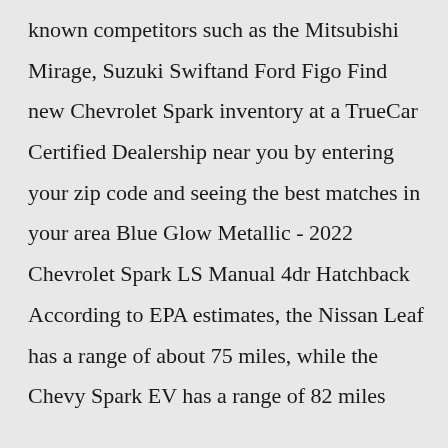known competitors such as the Mitsubishi Mirage, Suzuki Swiftand Ford Figo Find new Chevrolet Spark inventory at a TrueCar Certified Dealership near you by entering your zip code and seeing the best matches in your area Blue Glow Metallic - 2022 Chevrolet Spark LS Manual 4dr Hatchback According to EPA estimates, the Nissan Leaf has a range of about 75 miles, while the Chevy Spark EV has a range of 82 miles